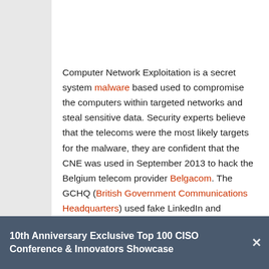Computer Network Exploitation is a secret system malware based used to compromise the computers within targeted networks and steal sensitive data. Security experts believe that the telecoms were the most likely targets for the malware, they are confident that the CNE was used in September 2013 to hack the Belgium telecom provider Belgacom. The GCHQ (British Government Communications Headquarters) used fake LinkedIn and Slashdot to hack Belgacom, OPEC & others GRX providers, the
10th Anniversary Exclusive Top 100 CISO Conference & Innovators Showcase